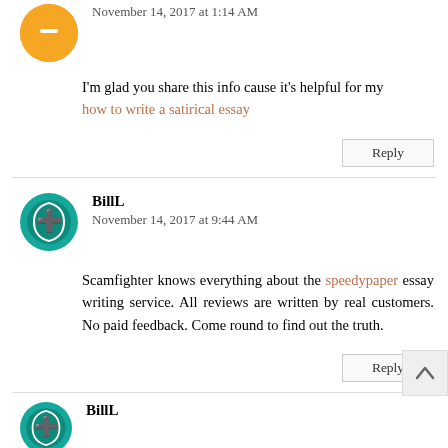November 14, 2017 at 1:14 AM
I'm glad you share this info cause it's helpful for my how to write a satirical essay
Reply
BillL
November 14, 2017 at 9:44 AM
Scamfighter knows everything about the speedypaper essay writing service. All reviews are written by real customers. No paid feedback. Come round to find out the truth.
Reply
BillL